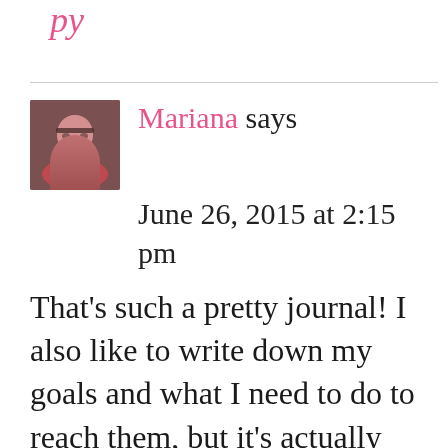py
Mariana says
June 26, 2015 at 2:15 pm
That's such a pretty journal! I also like to write down my goals and what I need to do to reach them, but it's actually moving